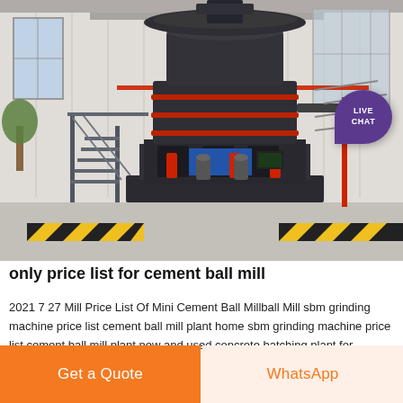[Figure (photo): Large industrial grinding mill machine (vertical roller mill) in a factory/warehouse setting. The machine is dark gray/black with red piping and a blue base section. It has a wide circular top and tapers to a base platform with stairs leading up. The interior of the building shows white corrugated walls, large windows, and yellow/black hazard striping on the floor. A 'LIVE CHAT' badge in purple is overlaid in the upper right corner.]
only price list for cement ball mill
2021 7 27 Mill Price List Of Mini Cement Ball Millball Mill sbm grinding machine price list cement ball mill plant home sbm grinding machine price list cement ball mill plant new and used concrete batching plant for